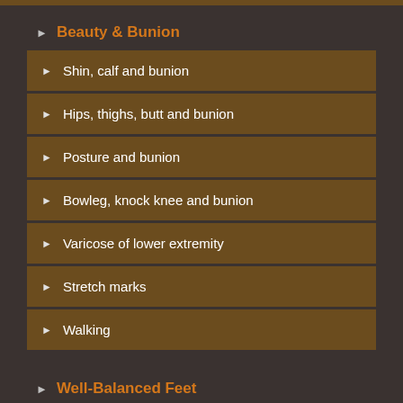Beauty & Bunion
Shin, calf and bunion
Hips, thighs, butt and bunion
Posture and bunion
Bowleg, knock knee and bunion
Varicose of lower extremity
Stretch marks
Walking
Well-Balanced Feet
In the countries where people walk barefoot
My research record
The Research Conclusion